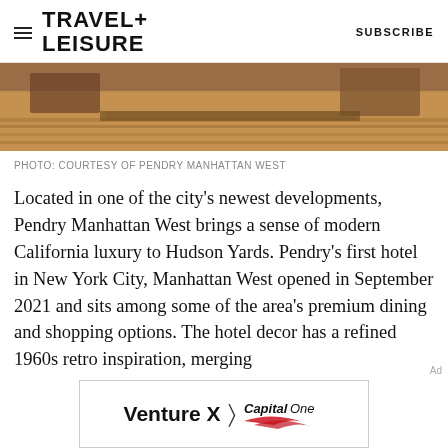TRAVEL+ LEISURE  SUBSCRIBE
[Figure (photo): Interior photo of a hotel room or hallway with warm wood floors and furniture, partial view from below]
PHOTO: COURTESY OF PENDRY MANHATTAN WEST
Located in one of the city's newest developments, Pendry Manhattan West brings a sense of modern California luxury to Hudson Yards. Pendry's first hotel in New York City, Manhattan West opened in September 2021 and sits among some of the area's premium dining and shopping options. The hotel decor has a refined 1960s retro inspiration, merging
[Figure (advertisement): Capital One Venture X advertisement banner with text 'Venture X > Capital One']